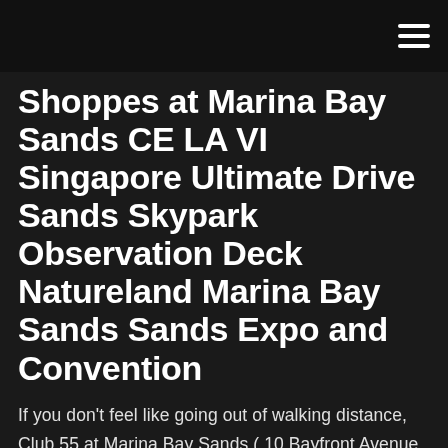Shoppes at Marina Bay Sands CE LA VI Singapore Ultimate Drive Sands Skypark Observation Deck Natureland Marina Bay Sands Sands Expo and Convention
If you don't feel like going out of walking distance, Club 55 at Marina Bay Sands ( 10 Bayfront Avenue, Level 55, Hotel Tower 2) makes for an excellent choice. Exclusive access to SkyPark Infinity Pool; Complimentary internet access; Entry to Banyan Tree Fitness Club; In-room safe; Iron and ironing board; Bathtub; Walk-   Marina Bay Sands Casino: Marina bay sands casino - See 1285 traveller reviews , 422 candid photos, and great deals for Singapore, Singapore, at